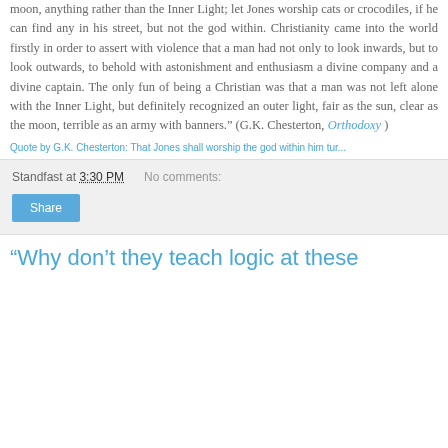moon, anything rather than the Inner Light; let Jones worship cats or crocodiles, if he can find any in his street, but not the god within. Christianity came into the world firstly in order to assert with violence that a man had not only to look inwards, but to look outwards, to behold with astonishment and enthusiasm a divine company and a divine captain. The only fun of being a Christian was that a man was not left alone with the Inner Light, but definitely recognized an outer light, fair as the sun, clear as the moon, terrible as an army with banners." (G.K. Chesterton, Orthodoxy )
Quote by G.K. Chesterton: That Jones shall worship the god within him tur...
Standfast at 3:30 PM   No comments:
Share
"Why don't they teach logic at these